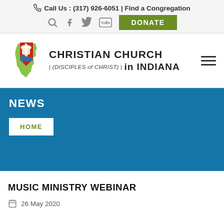📞 Call Us : (317) 926-6051 | Find a Congregation
[Figure (logo): Christian Church (Disciples of Christ) in Indiana logo with Indiana state shape and chalice symbol]
NEWS
HOME
MUSIC MINISTRY WEBINAR
26 May 2020